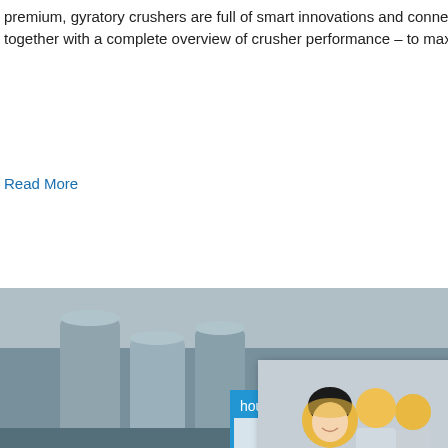premium, gyratory crushers are full of smart innovations and connected 24/7 to My Sandvik. Tough crushing together with a complete overview of crusher performance – to maximize uptime and productivity.
Read More
[Figure (photo): Industrial facility with large cylindrical silos/tanks and industrial equipment in the background]
Gyratory Crusher
The gyratory crusher shown in Figure 2.6 e... head, in the form of a truncated cone, mou... upper end of which is held in a flexible bea... end is driven eccentrically so as to describe... crushing action takes place round the whol... since the maximum movement is at the bot... characteristics of the
[Figure (screenshot): Live Chat popup overlay with workers in hard hats, LIVE CHAT heading in red italic, 'Click for a Free Consultation' subtitle, 'Chat now' red button and 'Chat later' dark button]
[Figure (screenshot): Right sidebar with blue background, 'hour online' text, crusher equipment image, 'Click me to chat>>' button, 'Enquiry' text, and 'limingjlmofen' text]
Read More